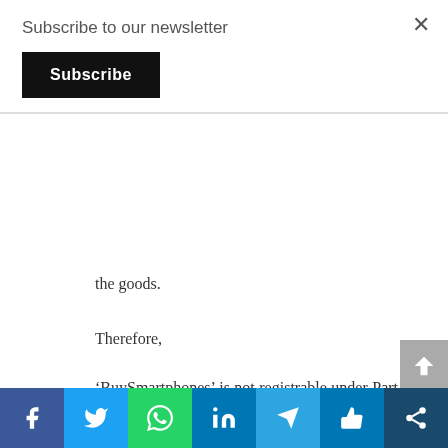Subscribe to our newsletter
Subscribe
the goods.
Therefore,
‘BuySmartphones’ is not registrable under Part A of the Act. ‘BuySmartphones’ has not been adapted or modified enough to merit distinctiveness.
[Figure (other): Social media share bar with Facebook, Twitter, WhatsApp, LinkedIn, Telegram, Like, and Share icons]